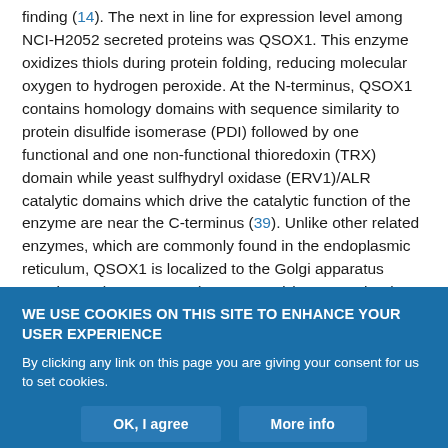finding (14). The next in line for expression level among NCI-H2052 secreted proteins was QSOX1. This enzyme oxidizes thiols during protein folding, reducing molecular oxygen to hydrogen peroxide. At the N-terminus, QSOX1 contains homology domains with sequence similarity to protein disulfide isomerase (PDI) followed by one functional and one non-functional thioredoxin (TRX) domain while yeast sulfhydryl oxidase (ERV1)/ALR catalytic domains which drive the catalytic function of the enzyme are near the C-terminus (39). Unlike other related enzymes, which are commonly found in the endoplasmic reticulum, QSOX1 is localized to the Golgi apparatus membrane (QSOX1-Long) or secreted (QSOX1-Short). QSOX1 is
WE USE COOKIES ON THIS SITE TO ENHANCE YOUR USER EXPERIENCE
By clicking any link on this page you are giving your consent for us to set cookies.
OK, I agree
More info